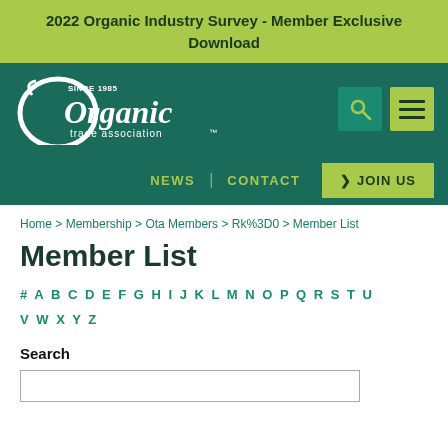2022 Organic Industry Survey - Member Exclusive Download
[Figure (logo): Organic Trade Association logo with 'Since 1985' text on dark teal background, with search and menu icons]
NEWS | CONTACT > JOIN US
Home > Membership > Ota Members > Rk%3D0 > Member List
Member List
# A B C D E F G H I J K L M N O P Q R S T U V W X Y Z
Search